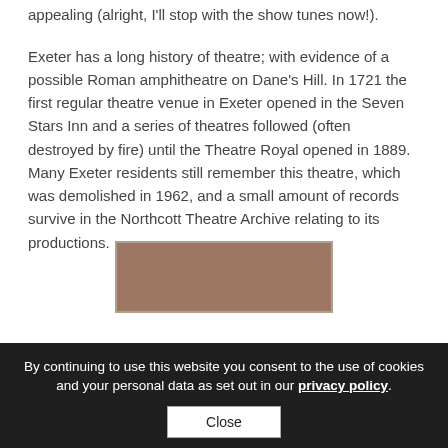appealing (alright, I'll stop with the show tunes now!).
Exeter has a long history of theatre; with evidence of a possible Roman amphitheatre on Dane's Hill. In 1721 the first regular theatre venue in Exeter opened in the Seven Stars Inn and a series of theatres followed (often destroyed by fire) until the Theatre Royal opened in 1889. Many Exeter residents still remember this theatre, which was demolished in 1962, and a small amount of records survive in the Northcott Theatre Archive relating to its productions.
[Figure (photo): A partial photograph of what appears to be a bronze or aged plaque/sign, brownish-red in color, mounted on a light-colored background.]
By continuing to use this website you consent to the use of cookies and your personal data as set out in our privacy policy.
Close